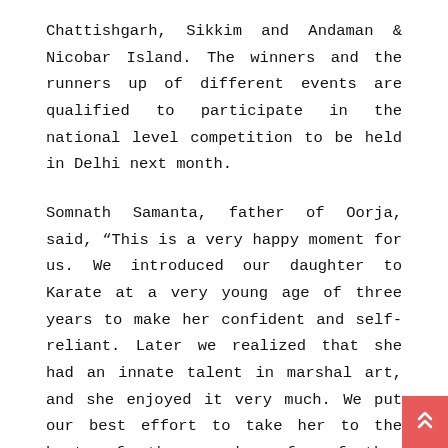Chattishgarh, Sikkim and Andaman & Nicobar Island. The winners and the runners up of different events are qualified to participate in the national level competition to be held in Delhi next month.
Somnath Samanta, father of Oorja, said, “This is a very happy moment for us. We introduced our daughter to Karate at a very young age of three years to make her confident and self-reliant. Later we realized that she had an innate talent in marshal art, and she enjoyed it very much. We put our best effort to take her to the best of the coaches for further development. We have shifted her to Baleswar, so that she gets the exposure of a